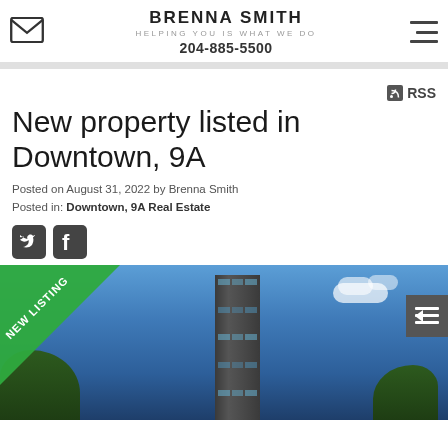BRENNA SMITH
HELPING YOU IS WHAT WE DO
204-885-5500
New property listed in Downtown, 9A
Posted on August 31, 2022 by Brenna Smith
Posted in: Downtown, 9A Real Estate
[Figure (photo): Tall glass skyscraper building photographed from below against a blue sky with trees, featuring a 'NEW LISTING' green diagonal banner in the lower left corner]